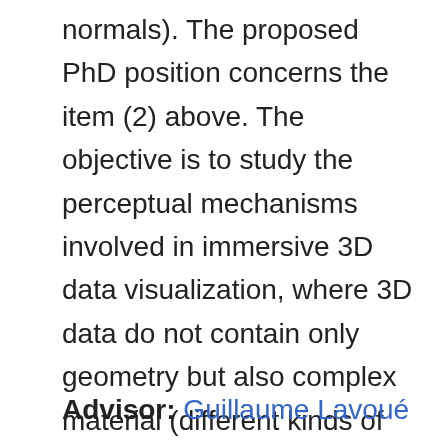normals). The proposed PhD position concerns the item (2) above. The objective is to study the perceptual mechanisms involved in immersive 3D data visualization, where 3D data do not contain only geometry but also complex material (different kinds of texture maps), illumination information and animation data. The final objective is to produce both near-threshold and supra-threshold quality indices, capable of predicting the perceptual impact of modifications applied to the geometry, texture maps and animation of a rich 3D scene.
Advisor: Guillaume Lavoué